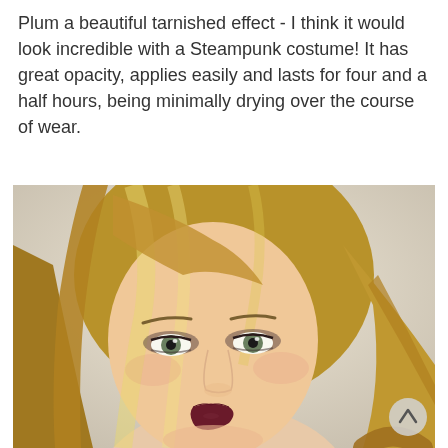Plum a beautiful tarnished effect - I think it would look incredible with a Steampunk costume! It has great opacity, applies easily and lasts for four and a half hours, being minimally drying over the course of wear.
[Figure (photo): Close-up portrait photo of a young woman with blonde highlighted hair, green eyes, and dark eye makeup, set against a light beige/cream background. She is wearing dark lipstick (plum/burgundy). The photo is cropped to show her face and top of shoulders.]